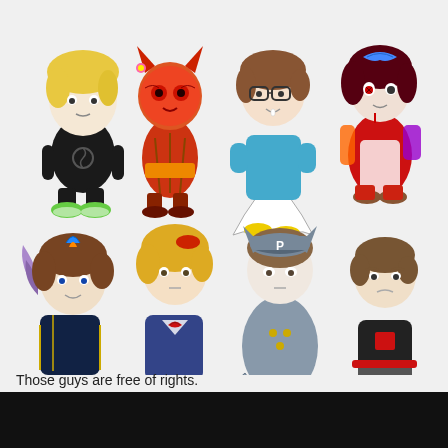[Figure (illustration): Eight chibi-style cartoon characters arranged in a 4x2 grid on a light gray background. Top row left to right: 1) blonde character in black swirl hoodie with green shoes, 2) red demon/cat masked character in colorful outfit, 3) brown-haired character with glasses in cyan shirt with fish tail, 4) dark-haired girl with blue bow and elaborate outfit. Bottom row: 1) brown-haired character with blue mohawk in dark navy suit with purple wing, 2) golden-haired character in purple/navy school uniform with red bow, 3) brown-haired character with gray cat ears and 'P' cap in gray-blue outfit, 4) brown-haired character in black outfit with red details.]
Those guys are free of rights.
SPONSORED
PlatinumUmbra...